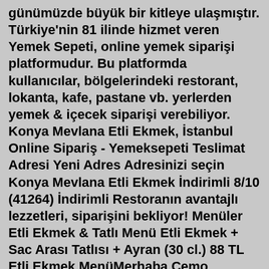günümüzde büyük bir kitleye ulaşmıştır. Türkiye'nin 81 ilinde hizmet veren Yemek Sepeti, online yemek siparişi platformudur. Bu platformda kullanıcılar, bölgelerindeki restorant, lokanta, kafe, pastane vb. yerlerden yemek & içecek siparişi verebiliyor. Konya Mevlana Etli Ekmek, İstanbul Online Sipariş - Yemeksepeti Teslimat Adresi Yeni Adres Adresinizi seçin Konya Mevlana Etli Ekmek İndirimli 8/10 (41264) İndirimli Restoranın avantajlı lezzetleri, siparişini bekliyor! Menüler Etli Ekmek & Tatlı Menü Etli Ekmek + Sac Arası Tatlısı + Ayran (30 cl.) 88 TL Etli Ekmek MenüMerhaba Cemo Etliekmek ailesi, Konya ile özdeşleşmiş etliekmeği otogarının orada yer alan şubenizde tatma fırsatım olduş. Gerçekten çok başarılı ve lezzetli bir etliekmek yedim. En kısa zamanda tekrar uğramak istiyorum ve diğer börek çeşitlerinizi tatmak istiyorum, üstelik bu sefer tek başıma gelmeyeceğim. Lütfen bu ... Kars'ın gravyeri mi Konya'nın obruk tulumu mu Ezine'nin beyazı mı? Gurmeler, yemek araştırmacıları, şefler anlaşamadı; beldelerin ve derenek başkanları da için...